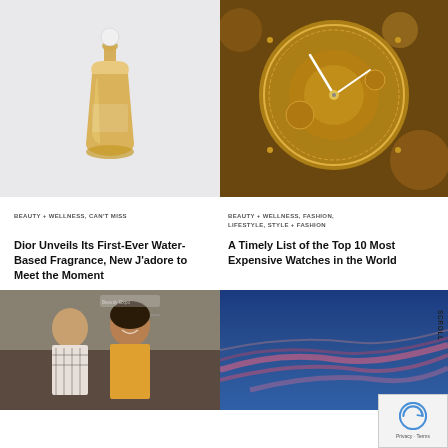[Figure (photo): Dior J'adore perfume bottle on light grey background]
[Figure (photo): Close-up of luxury watch movement with gold gears]
BEAUTY + WELLNESS, CAN'T MISS
Dior Unveils Its First-Ever Water-Based Fragrance, New J'adore to Meet the Moment
BEAUTY + WELLNESS, FASHION, LIFESTYLE, STYLE + FASHION
A Timely List of the Top 10 Most Expensive Watches in the World
[Figure (photo): Women at a beauty/fashion trade show or expo]
[Figure (photo): Abstract blue and pink sky with streaks of light]